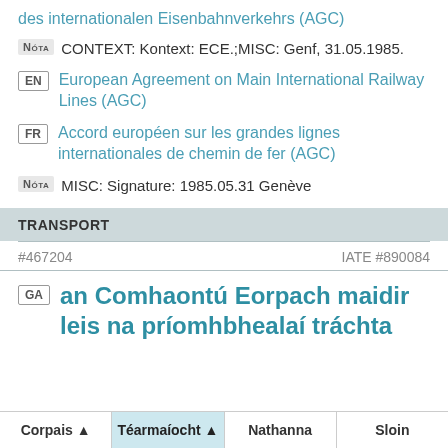des internationalen Eisenbahnverkehrs (AGC)
NÓTA  CONTEXT: Kontext: ECE.;MISC: Genf, 31.05.1985.
EN  European Agreement on Main International Railway Lines (AGC)
FR  Accord européen sur les grandes lignes internationales de chemin de fer (AGC)
NÓTA  MISC: Signature: 1985.05.31 Genève
TRANSPORT
#467204    IATE #890084
GA  an Comhaontú Eorpach maidir leis na príomhbhealaí tráchta
Corpais ▲   Téarmaíocht ▲   Nathanna   Sloin